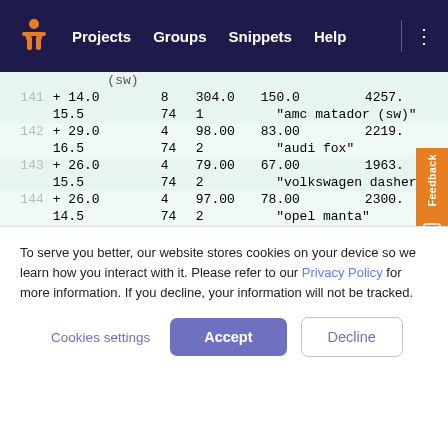Projects  Groups  Snippets  Help
| 141 | + 14.0 | 8 | 304.0 | 150.0 | 4257. |
|  | 15.5 | 74 | 1 | "amc matador (sw)" |  |
| 142 | + 29.0 | 4 | 98.00 | 83.00 | 2219. |
|  | 16.5 | 74 | 2 | "audi fox" |  |
| 143 | + 26.0 | 4 | 79.00 | 67.00 | 1963. |
|  | 15.5 | 74 | 2 | "volkswagen dasher" |  |
| 144 | + 26.0 | 4 | 97.00 | 78.00 | 2300. |
|  | 14.5 | 74 | 2 | "opel manta" |  |
| 145 | + 31.0 | 4 | 76.00 | 52.00 | 1649. |
|  | 16.5 | 74 | 3 | "toyota corona" |  |
| 146 | + 32.0 | 4 | 83.00 | 61.00 | 2003. |
|  | 19.0 | 74 | 3 | "datsun 710" |  |
To serve you better, our website stores cookies on your device so we learn how you interact with it. Please refer to our Privacy Policy for more information. If you decline, your information will not be tracked.
Cookies settings
Accept
Decline